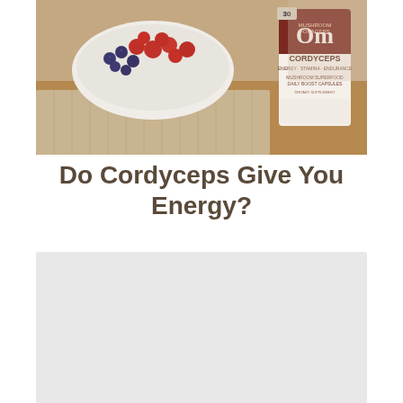[Figure (photo): A lifestyle photo showing a bowl of fruit (raspberries, blueberries) on a woven placemat on a wooden table, with a bottle/package of Om Cordyceps Mushroom Superfood Daily Boost Capsules dietary supplement visible on the right side. A person is blurred in the background.]
Do Cordyceps Give You Energy?
[Figure (other): Light gray placeholder rectangle]